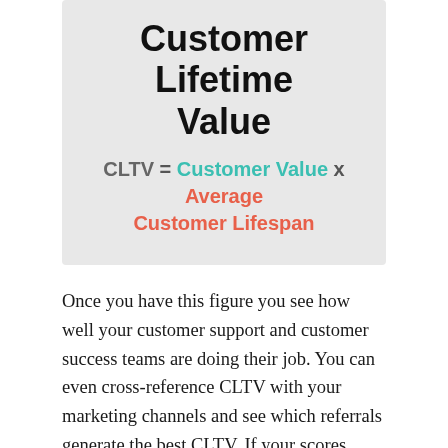Customer Lifetime Value
Once you have this figure you see how well your customer support and customer success teams are doing their job. You can even cross-reference CLTV with your marketing channels and see which referrals generate the best CLTV. If your scores reveal a deficit between CLTV and Cost Per Acquisition you are well-positioned to take steps to enhance your CLTV. Even if you're happy with your figures, that's no reason to rest on your